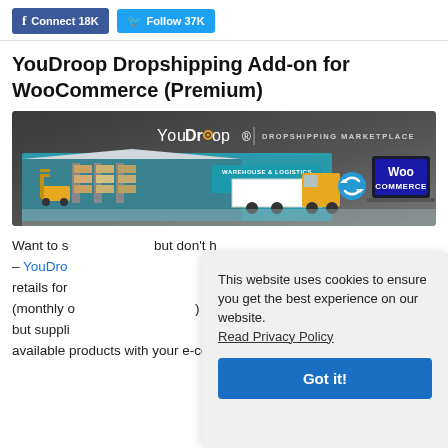f Connect 18K   Follow 37K
YouDroop Dropshipping Add-on for WooCommerce (Premium)
[Figure (illustration): YouDroop Dropshipping Marketplace banner showing a warehouse with forklift, a truck, and WooCommerce logo on a laptop screen, with the text 'YouDroop | DROPSHIPPING MARKETPLACE']
Want to s... but don't h... – YouDro... retails for ... (monthly o... but suppli... available products with your e-commerce site, then
This website uses cookies to ensure you get the best experience on our website. Read Privacy Policy
Got it!